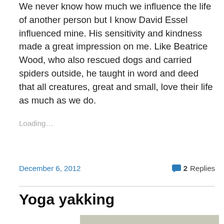We never know how much we influence the life of another person but I know David Essel influenced mine. His sensitivity and kindness made a great impression on me. Like Beatrice Wood, who also rescued dogs and carried spiders outside, he taught in word and deed that all creatures, great and small, love their life as much as we do.
Loading...
December 6, 2012
2 Replies
Yoga yakking
[Figure (photo): Partial photo visible at bottom of page, appears to show a yoga-related image]